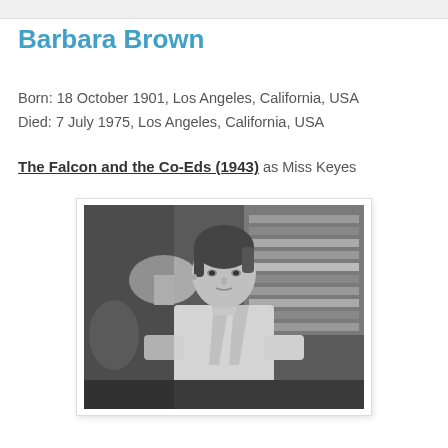Barbara Brown
Born: 18 October 1901, Los Angeles, California, USA
Died: 7 July 1975, Los Angeles, California, USA
The Falcon and the Co-Eds (1943) as Miss Keyes
[Figure (photo): Black and white still photograph of Barbara Brown, a woman with dark upswept hair, wearing a light-colored blazer, seated at a desk looking slightly upward. Bookshelves and a lamp are visible in the background.]